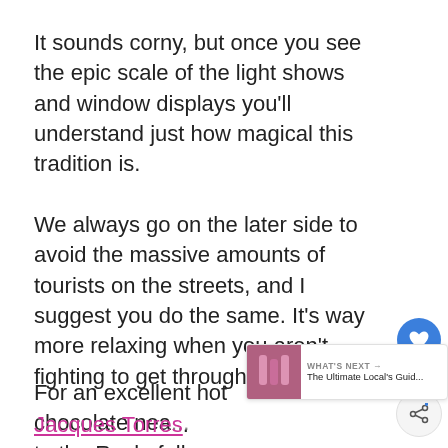It sounds corny, but once you see the epic scale of the light shows and window displays you'll understand just how magical this tradition is.
We always go on the later side to avoid the massive amounts of tourists on the streets, and I suggest you do the same. It's way more relaxing when you aren't fighting to get through a crowd.
For an excellent hot chocolate nea... to the Rockefeller terminal and gra... Jacques Torres.